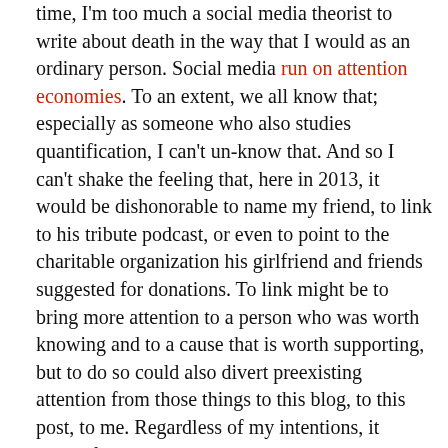time, I'm too much a social media theorist to write about death in the way that I would as an ordinary person. Social media run on attention economies. To an extent, we all know that; especially as someone who also studies quantification, I can't un-know that. And so I can't shake the feeling that, here in 2013, it would be dishonorable to name my friend, to link to his tribute podcast, or even to point to the charitable organization his girlfriend and friends suggested for donations. To link might be to bring more attention to a person who was worth knowing and to a cause that is worth supporting, but to do so could also divert preexisting attention from those things to this blog, to this post, to me. Regardless of my intentions, it would feel opportunistic.

It feels as though there is a certain degree of Very Close that one should be with someone before one steps anywhere near the limelight of their passing, and while I don't know where the shadows stop and the light begins, I am certain that in that attention is not my place. In a way, new attention is like thermal energy: It flows from where there is more of it